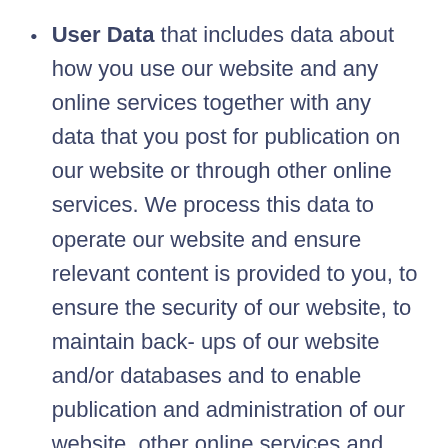User Data that includes data about how you use our website and any online services together with any data that you post for publication on our website or through other online services. We process this data to operate our website and ensure relevant content is provided to you, to ensure the security of our website, to maintain back- ups of our website and/or databases and to enable publication and administration of our website, other online services and business. Our lawful ground for this processing is our legitimate interests which in this case are to enable us to